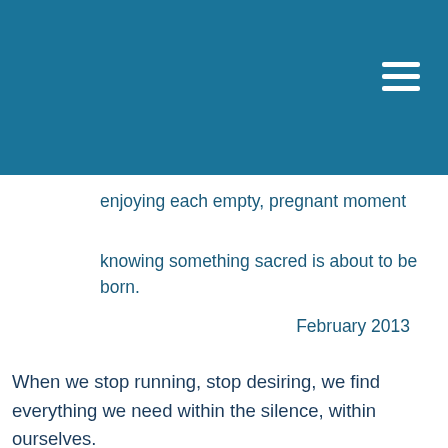[Figure (other): Teal/dark blue navigation header bar with hamburger menu icon (three white horizontal lines) in top right corner]
enjoying each empty, pregnant moment
knowing something sacred is about to be born.
February 2013
When we stop running, stop desiring, we find everything we need within the silence, within ourselves.
When you desire something, your joy depends on that something.  If it is
taken away, you are miserable; if it is given to you, you are